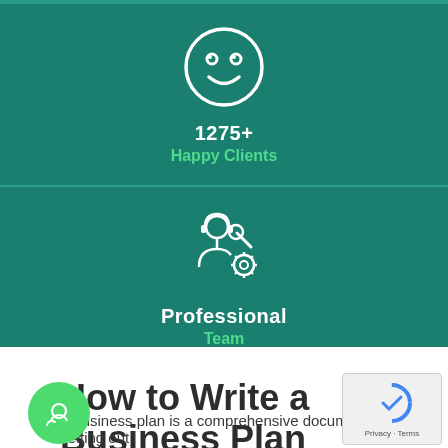[Figure (infographic): Smiley face icon (white outline on teal background) above the text '1275+ Happy Clients']
1275+
Happy Clients
[Figure (infographic): Support/professional team icon (white outline person with headset and wrench/gear on teal background) above the text 'Professional Team']
Professional
Team
How to Write a Business Plan [Updated for 2020]
A business plan is a comprehensive document setting out